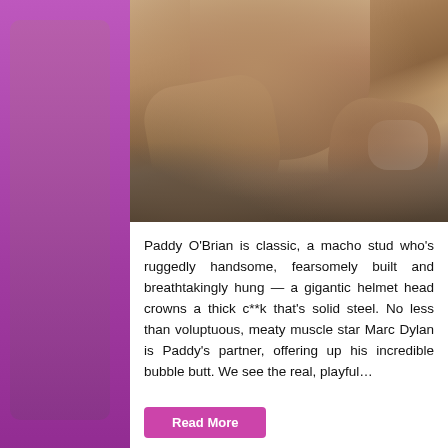[Figure (photo): Cropped photo showing muscular male figures, bare skin, hands and feet visible, shot outdoors on rocky surface with shadows]
Paddy O'Brian is classic, a macho stud who's ruggedly handsome, fearsomely built and breathtakingly hung — a gigantic helmet head crowns a thick c**k that's solid steel. No less than voluptuous, meaty muscle star Marc Dylan is Paddy's partner, offering up his incredible bubble butt. We see the real, playful…